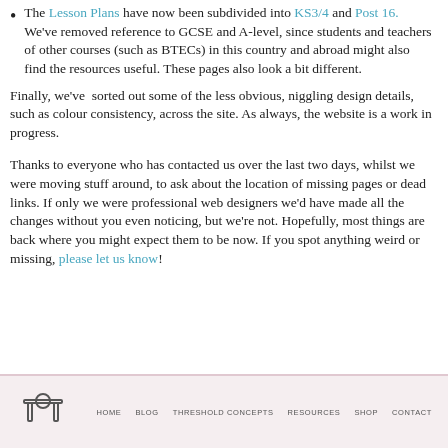The Lesson Plans have now been subdivided into KS3/4 and Post 16. We've removed reference to GCSE and A-level, since students and teachers of other courses (such as BTECs) in this country and abroad might also find the resources useful. These pages also look a bit different.
Finally, we've  sorted out some of the less obvious, niggling design details, such as colour consistency, across the site. As always, the website is a work in progress.
Thanks to everyone who has contacted us over the last two days, whilst we were moving stuff around, to ask about the location of missing pages or dead links. If only we were professional web designers we'd have made all the changes without you even noticing, but we're not. Hopefully, most things are back where you might expect them to be now. If you spot anything weird or missing, please let us know!
HOME  BLOG  THRESHOLD CONCEPTS  RESOURCES  SHOP  CONTACT